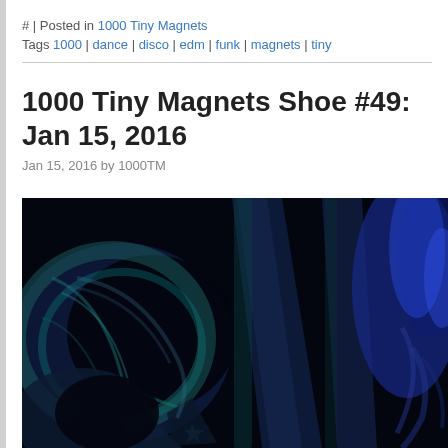# | Posted in 1000 Tiny Magnets
Tags 1000 | dance | disco | edm | funk | magnets | tiny
1000 Tiny Magnets Shoe #49: Jan 15, 2016
Jan 15, 2016 by 1000TM
[Figure (photo): Dark abstract image with iridescent blue and teal geometric/floral shapes on a black background, showing what appears to be layered angular and curved forms lit with blue-purple light.]